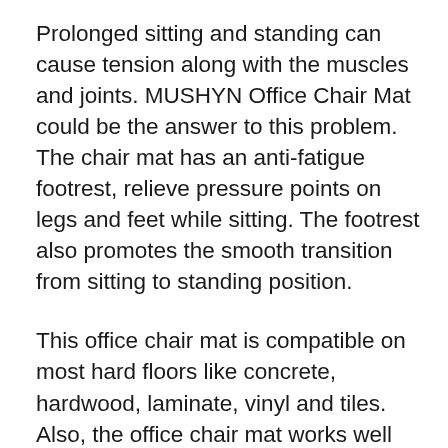Prolonged sitting and standing can cause tension along with the muscles and joints. MUSHYN Office Chair Mat could be the answer to this problem. The chair mat has an anti-fatigue footrest, relieve pressure points on legs and feet while sitting. The footrest also promotes the smooth transition from sitting to standing position.
This office chair mat is compatible on most hard floors like concrete, hardwood, laminate, vinyl and tiles. Also, the office chair mat works well on low pile carpets, specifically those with at least 1/5 inches thickness.